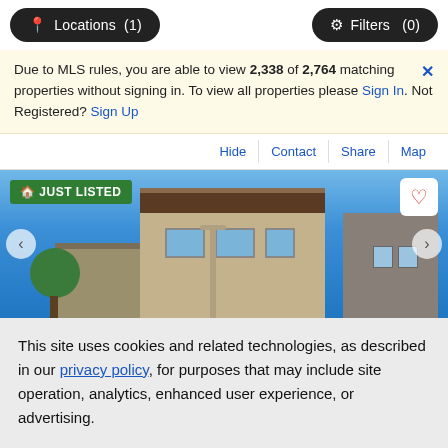Locations (1)   Filters (0)
Due to MLS rules, you are able to view 2,338 of 2,764 matching properties without signing in. To view all properties please Sign In. Not Registered? Sign Up
Hide   Contact   Share   Map
[Figure (photo): Exterior photo of a multi-story Victorian-style residential building with a blue sky background. Badge reads JUST LISTED. Heart/favorite icon in top right.]
This site uses cookies and related technologies, as described in our privacy policy, for purposes that may include site operation, analytics, enhanced user experience, or advertising.
Manage Preferences   Accept